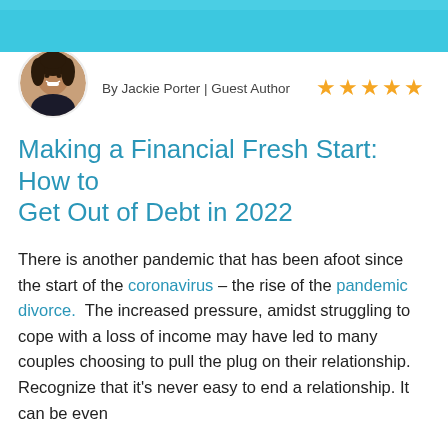[Figure (photo): Top decorative banner image in teal/cyan color with a partial image at the top]
[Figure (photo): Circular author photo of Jackie Porter, a woman with curly hair smiling]
By Jackie Porter | Guest Author ★★★★★
Making a Financial Fresh Start: How to Get Out of Debt in 2022
There is another pandemic that has been afoot since the start of the coronavirus – the rise of the pandemic divorce.  The increased pressure, amidst struggling to cope with a loss of income may have led to many couples choosing to pull the plug on their relationship. Recognize that it's never easy to end a relationship. It can be even